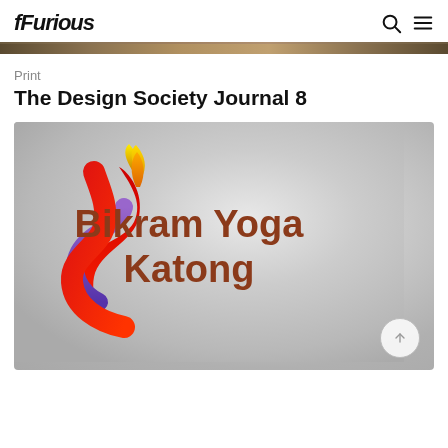fFurious
Print
The Design Society Journal 8
[Figure (logo): Bikram Yoga Katong logo: a stylized flame and S-curve shape in red, purple, and gold/yellow gradients, with the text 'Bikram Yoga Katong' in bold brown/terracotta letters, on a light grey gradient background.]